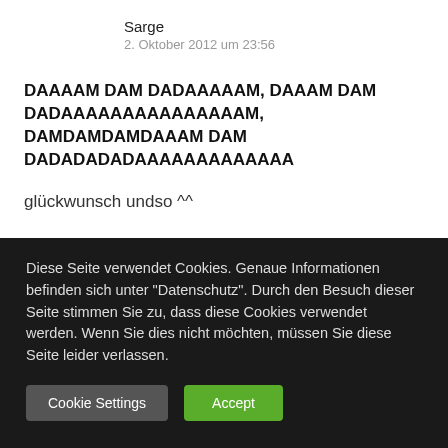Sarge
2. Oktober 2012 um 23:56
DAAAAM DAM DADAAAAAM, DAAAM DAM DADAAAAAAAAAAAAAAAM, DAMDAMDAMDAAAM DAM DADADADADAAAAAAAAAAAAA
glückwunsch undso ^^
Antworten |
Diese Seite verwendet Cookies. Genaue Informationen befinden sich unter "Datenschutz". Durch den Besuch dieser Seite stimmen Sie zu, dass diese Cookies verwendet werden. Wenn Sie dies nicht möchten, müssen Sie diese Seite leider verlassen.
Cookie Settings
Accept